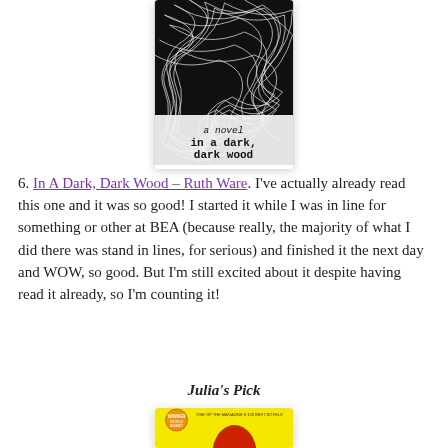[Figure (photo): Book cover of 'In a dark, dark wood' by Ruth Ware – black and white tangled lines pattern with typewriter-style title text at bottom]
6. In A Dark, Dark Wood – Ruth Ware. I've actually already read this one and it was so good! I started it while I was in line for something or other at BEA (because really, the majority of what I did there was stand in lines, for serious) and finished it the next day and WOW, so good. But I'm still excited about it despite having read it already, so I'm counting it!
Julia's Pick
[Figure (photo): Book cover partially visible – yellow background with red figure, award sticker visible at top left]